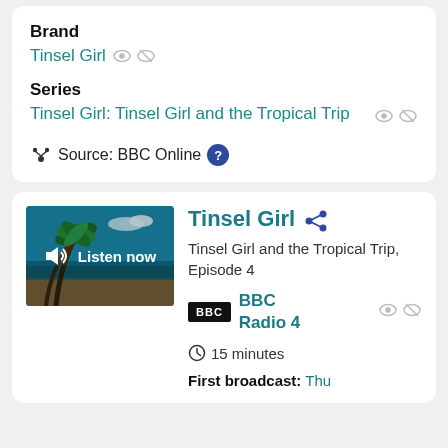Brand
Tinsel Girl
Series
Tinsel Girl: Tinsel Girl and the Tropical Trip
Source: BBC Online
Tinsel Girl
Tinsel Girl and the Tropical Trip, Episode 4
BBC Radio 4
15 minutes
First broadcast: Thu